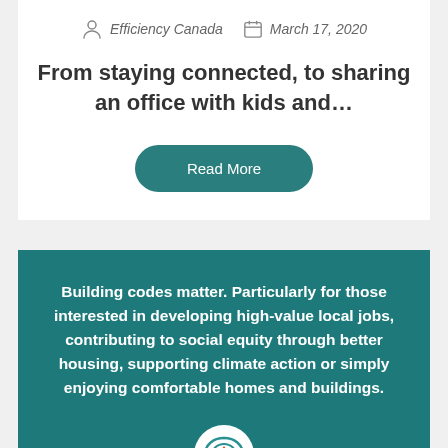Efficiency Canada   March 17, 2020
From staying connected, to sharing an office with kids and…
Read More
Building codes matter. Particularly for those interested in developing high-value local jobs, contributing to social equity through better housing, supporting climate action or simply enjoying comfortable homes and buildings.
[Figure (logo): Efficiency Canada circular logo with flame and swirl design on white circle background]